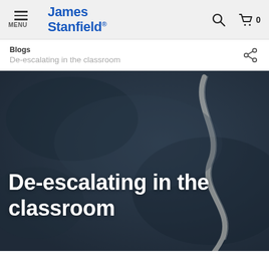MENU | James Stanfield® [search] [cart 0]
Blogs
De-escalating in the classroom
[Figure (photo): Dark aerial photo of a winding white chalk-like path on a dark textured surface, serving as the hero background image for the blog post 'De-escalating in the classroom']
De-escalating in the classroom